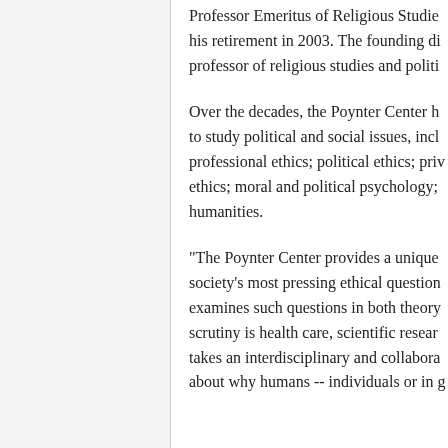Professor Emeritus of Religious Studies his retirement in 2003. The founding di professor of religious studies and politi
Over the decades, the Poynter Center h to study political and social issues, incl professional ethics; political ethics; pri ethics; moral and political psychology; humanities.
"The Poynter Center provides a unique society's most pressing ethical question examines such questions in both theory scrutiny is health care, scientific resear takes an interdisciplinary and collabora about why humans -- individuals or in g